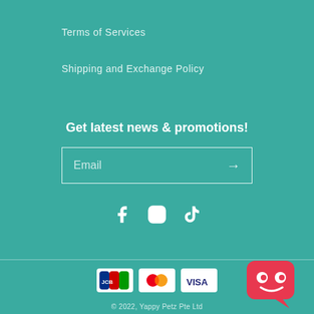Terms of Services
Shipping and Exchange Policy
Get latest news & promotions!
Email →
[Figure (illustration): Social media icons: Facebook, Instagram, TikTok]
[Figure (illustration): Payment method icons: JCB, Mastercard, Visa]
© 2022, Yappy Petz Pte Ltd
[Figure (logo): Yappy Petz red robot/bot logo icon in bottom right corner]